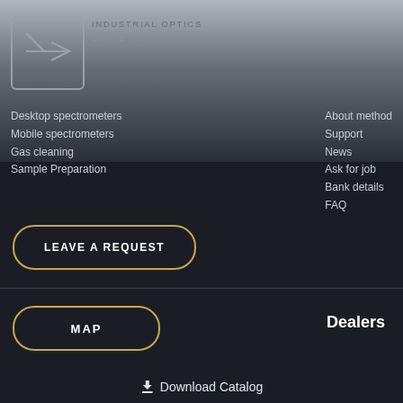[Figure (logo): Company logo inside a rounded rectangle border with geometric lines and arrow shapes]
INDUSTRIAL OPTICS
SINCE 1992
Desktop spectrometers
Mobile spectrometers
Gas cleaning
Sample Preparation
About method
Support
News
Ask for job
Bank details
FAQ
LEAVE A REQUEST
MAP
Dealers
Download Catalog